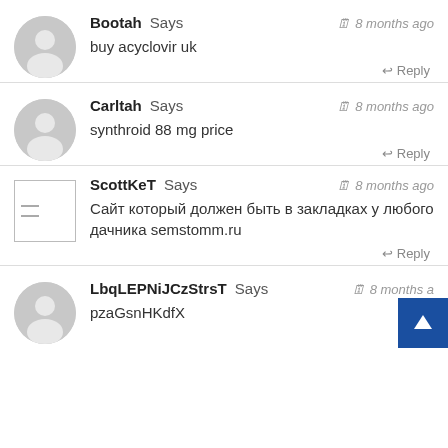Bootah Says — 8 months ago
buy acyclovir uk
Reply
Carltah Says — 8 months ago
synthroid 88 mg price
Reply
ScottKeT Says — 8 months ago
Сайт который должен быть в закладках у любого дачника semstomm.ru
Reply
LbqLEPNiJCzStrsT Says — 8 months ago
pzaGsnHKdfX